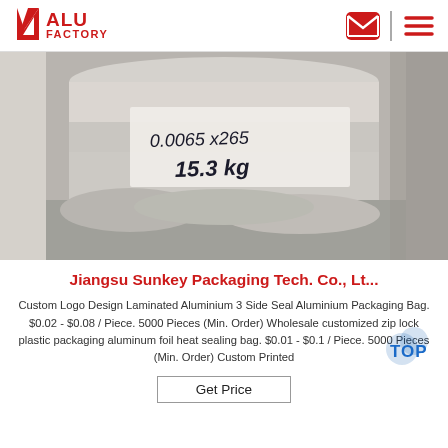ALU FACTORY
[Figure (photo): Close-up photo of aluminum foil rolls/coils in a box, with a label reading '0.0065 x265' and '15.3 kg' written in marker on a white paper tag.]
Jiangsu Sunkey Packaging Tech. Co., Lt...
Custom Logo Design Laminated Aluminium 3 Side Seal Aluminium Packaging Bag. $0.02 - $0.08 / Piece. 5000 Pieces (Min. Order) Wholesale customized zip lock plastic packaging aluminum foil heat sealing bag. $0.01 - $0.1 / Piece. 5000 Pieces (Min. Order) Custom Printed
Get Price